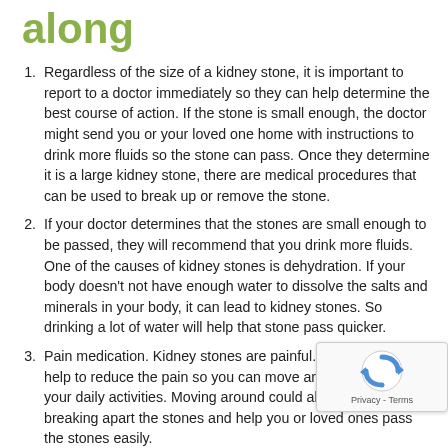along
Regardless of the size of a kidney stone, it is important to report to a doctor immediately so they can help determine the best course of action. If the stone is small enough, the doctor might send you or your loved one home with instructions to drink more fluids so the stone can pass. Once they determine it is a large kidney stone, there are medical procedures that can be used to break up or remove the stone.
If your doctor determines that the stones are small enough to be passed, they will recommend that you drink more fluids. One of the causes of kidney stones is dehydration. If your body doesn't not have enough water to dissolve the salts and minerals in your body, it can lead to kidney stones. So drinking a lot of water will help that stone pass quicker.
Pain medication. Kidney stones are painful. Pain killers can help to reduce the pain so you can move around and perform your daily activities. Moving around could also help with breaking apart the stones and help you or loved ones pass the stones easily.